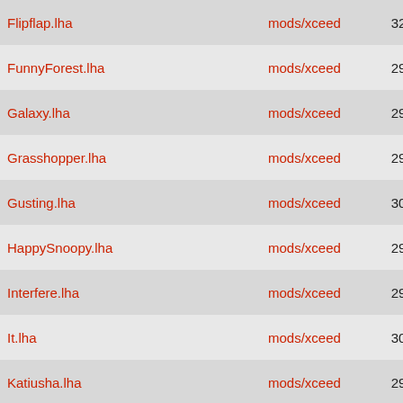| Name |  | Path | Num1 | Size | Year |
| --- | --- | --- | --- | --- | --- |
| Flipflap.lha |  | mods/xceed | 3200 | 433K | 19... |
| FunnyForest.lha |  | mods/xceed | 2915 | 12K | 19... |
| Galaxy.lha |  | mods/xceed | 2970 | 220K | 19... |
| Grasshopper.lha |  | mods/xceed | 2970 | 143K | 19... |
| Gusting.lha |  | mods/xceed | 3006 | 25K | 19... |
| HappySnoopy.lha |  | mods/xceed | 2952 | 19K | 19... |
| Interfere.lha |  | mods/xceed | 2982 | 164K | 19... |
| It.lha |  | mods/xceed | 3032 | 17K | 19... |
| Katiusha.lha |  | mods/xceed | 2935 | 68K | 19... |